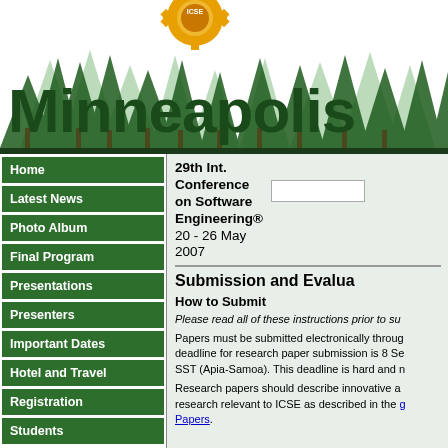[Figure (illustration): ICSE Minneapolis conference header banner with stylized green pine trees, orange/yellow gear logo with 'ICSE' text, and bold dark green 'Minneapolis' text on white background]
Home
Latest News
Photo Album
Final Program
Presentations
Presenters
Important Dates
Hotel and Travel
Registration
Students
29th Int. Conference on Software Engineering® 20 - 26 May 2007
Submission and Evalua...
How to Submit
Please read all of these instructions prior to su...
Papers must be submitted electronically throug... deadline for research paper submission is 8 Se... SST (Apia-Samoa). This deadline is hard and n...
Research papers should describe innovative a... research relevant to ICSE as described in the g... Papers.